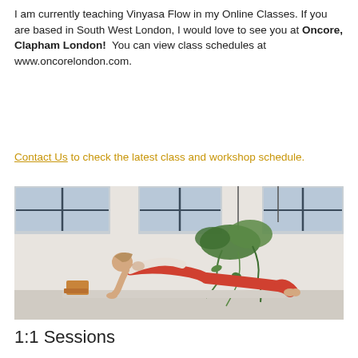I am currently teaching Vinyasa Flow in my Online Classes. If you are based in South West London, I would love to see you at Oncore, Clapham London!  You can view class schedules at www.oncorelondon.com.
Contact Us to check the latest class and workshop schedule.
[Figure (photo): Woman in red yoga outfit performing a plank-like yoga pose on a mat in a bright studio with hanging plants and large windows in the background. Two yoga blocks are visible near the mat.]
1:1 Sessions
1:1 sessions are an opportunity to fine-tune your practice, working towards your personal fitness goals in the comfort of your own home.  1:1 sessions will include tailored practices, where I will work with you to develop a plan and schedule of sessions, where we can work together at your...